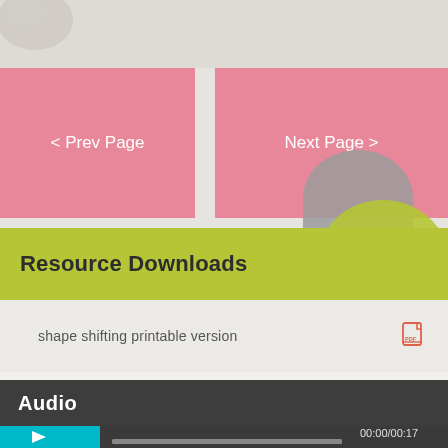[Figure (screenshot): Top strip showing partial decorative image on left side]
< Prev Page
Next Page >
Resource Downloads
shape shifting printable version
Audio
[Figure (screenshot): Audio player showing play button (cyan background), progress bar, and timestamp 00:00/00:17]